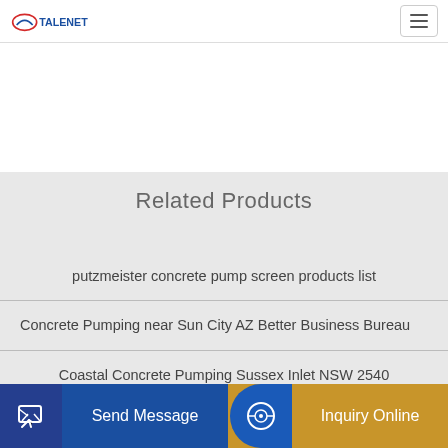TALENET (logo) with navigation menu button
Related Products
putzmeister concrete pump screen products list
Concrete Pumping near Sun City AZ Better Business Bureau
Coastal Concrete Pumping Sussex Inlet NSW 2540
australia small mini hopper concrete batching plant
Send Message
Inquiry Online